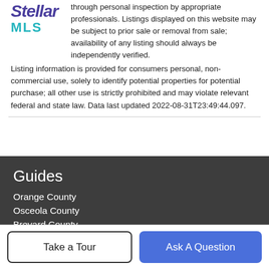[Figure (logo): Stellar MLS logo — 'Stellar' in purple italic bold, 'MLS' in teal bold below]
through personal inspection by appropriate professionals. Listings displayed on this website may be subject to prior sale or removal from sale; availability of any listing should always be independently verified. Listing information is provided for consumers personal, non-commercial use, solely to identify potential properties for potential purchase; all other use is strictly prohibited and may violate relevant federal and state law. Data last updated 2022-08-31T23:49:44.097.
Guides
Orange County
Osceola County
Brevard County
Seminole County
Lake County
More Guides >